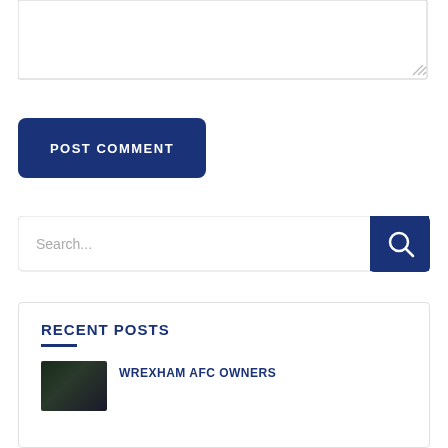[Figure (screenshot): Empty textarea input box with resize handle at bottom-right corner]
POST COMMENT
[Figure (screenshot): Search input field with placeholder text 'Search...' and a dark blue search button with magnifying glass icon]
RECENT POSTS
WREXHAM AFC OWNERS